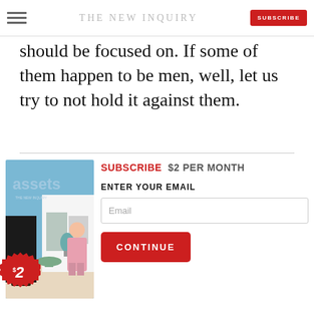THE NEW INQUIRY
should be focused on. If some of them happen to be men, well, let us try to not hold it against them.
[Figure (illustration): Magazine cover for 'assets' issue of The New Inquiry, with a red $2 badge, showing a painting of two figures near a modern building]
SUBSCRIBE  $2 PER MONTH
ENTER YOUR EMAIL
Email
CONTINUE